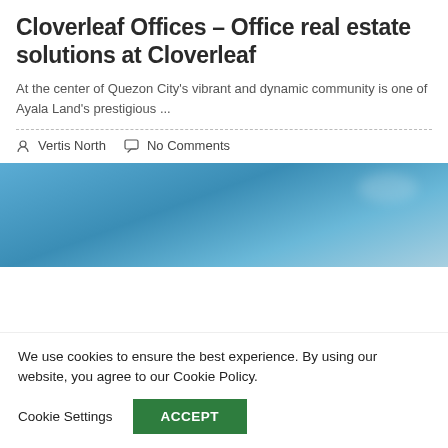Cloverleaf Offices – Office real estate solutions at Cloverleaf
At the center of Quezon City's vibrant and dynamic community is one of Ayala Land's prestigious ...
Vertis North   No Comments
[Figure (photo): Blue sky with light clouds — decorative header image for a real estate listing]
We use cookies to ensure the best experience. By using our website, you agree to our Cookie Policy.
Cookie Settings   ACCEPT